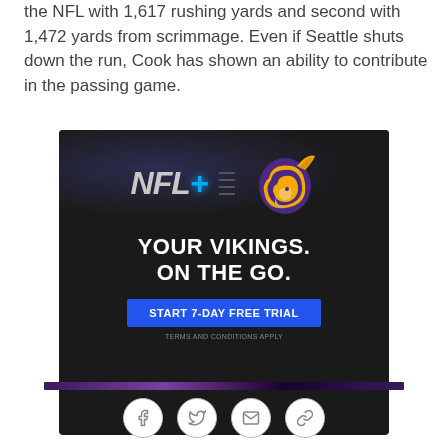the NFL with 1,617 rushing yards and second with 1,472 yards from scrimmage. Even if Seattle shuts down the run, Cook has shown an ability to contribute in the passing game.
[Figure (illustration): NFL+ advertisement banner with Minnesota Vikings logo. Dark background with 'NFL+' text in grey/white with blue glowing plus sign, dot divider, Vikings horn logo on right. Text reads 'YOUR VIKINGS. ON THE GO.' with a blue 'START 7-DAY FREE TRIAL' button and 'TERMS AND CONDITIONS APPLY' disclaimer.]
[Figure (other): Purple/dark gradient bar separator]